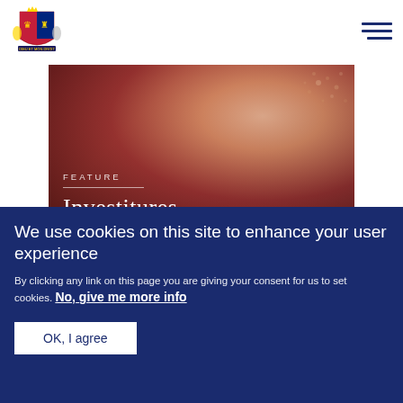Royal.uk website header with coat of arms logo and navigation menu
[Figure (photo): Feature image card with red/dark background showing investitures ceremony. Label reads FEATURE with divider line, title Investitures in serif font.]
[Figure (photo): News image card with dark background showing a person, labeled NEWS.]
We use cookies on this site to enhance your user experience
By clicking any link on this page you are giving your consent for us to set cookies. No, give me more info
OK, I agree